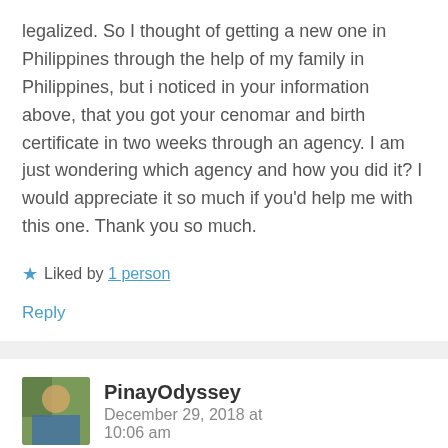legalized. So I thought of getting a new one in Philippines through the help of my family in Philippines, but i noticed in your information above, that you got your cenomar and birth certificate in two weeks through an agency. I am just wondering which agency and how you did it? I would appreciate it so much if you'd help me with this one. Thank you so much.
★ Liked by 1 person
Reply
PinayOdyssey   December 29, 2018 at 10:06 am
Hi Sher, I think I replied to...